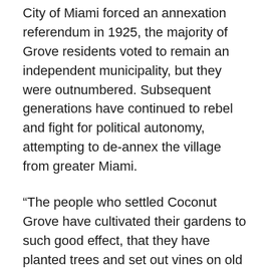City of Miami forced an annexation referendum in 1925, the majority of Grove residents voted to remain an independent municipality, but they were outnumbered. Subsequent generations have continued to rebel and fight for political autonomy, attempting to de-annex the village from greater Miami.
“The people who settled Coconut Grove have cultivated their gardens to such good effect, that they have planted trees and set out vines on old walls, and kept intact, successfully, the tangles and by-paths [of the past]”, wrote Douglas. Vintage black-and-white photos from the mid-19th century show plaited fronds and the riotous tangle that she described: thatch, serpentine roots, dangling air shoots of the banyan, palmetto scrub, spiky agave, mangrove “walking trees”, as if the air itself were sprouting